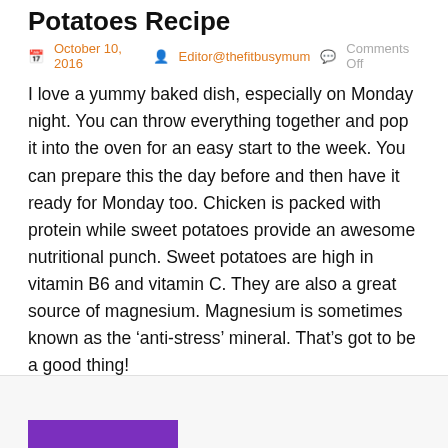Potatoes Recipe
October 10, 2016   Editor@thefitbusymum   Comments Off
I love a yummy baked dish, especially on Monday night. You can throw everything together and pop it into the oven for an easy start to the week. You can prepare this the day before and then have it ready for Monday too. Chicken is packed with protein while sweet potatoes provide an awesome nutritional punch. Sweet potatoes are high in vitamin B6 and vitamin C. They are also a great source of magnesium. Magnesium is sometimes known as the ‘anti-stress’ mineral. That’s got to be a good thing!
Like this:
Loading...